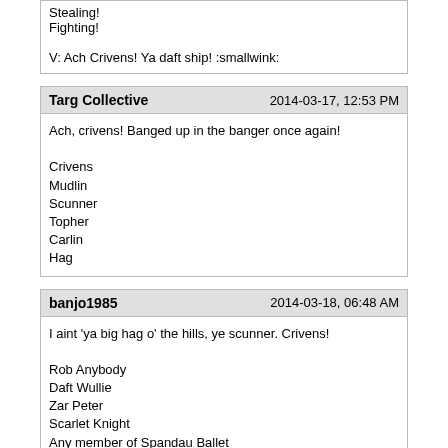Stealing!
Fighting!

V: Ach Crivens! Ya daft ship! :smallwink:
Targ Collective
2014-03-17, 12:53 PM
Ach, crivens! Banged up in the banger once again!

Crivens
Mudlin
Scunner
Topher
Carlin
Hag
banjo1985
2014-03-18, 06:48 AM
I aint 'ya big hag o' the hills, ye scunner. Crivens!

Rob Anybody
Daft Wullie
Zar Peter
Scarlet Knight
Any member of Spandau Ballet
Scarlet Knight
2014-03-20, 09:23 PM
Correct!

AKA_Bait
BasketOfPuppies
Duck999
Laughing Dog
TheCountAlucard